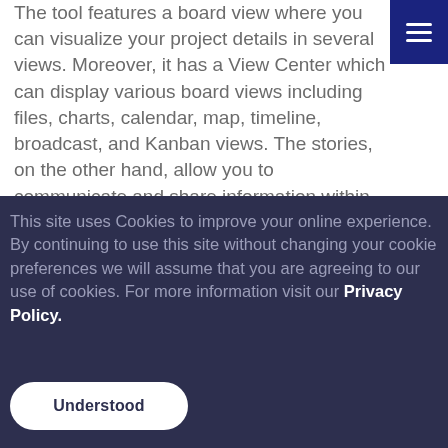The tool features a board view where you can visualize your project details in several views. Moreover, it has a View Center which can display various board views including files, charts, calendar, map, timeline, broadcast, and Kanban views. The stories, on the other hand, allow you to communicate and share information within your team members, which can help improve
This site uses Cookies to improve your online experience. By continuing to use this site without changing your cookie preferences we will assume that you are agreeing to our use of cookies. For more information visit our Privacy Policy.
Understood